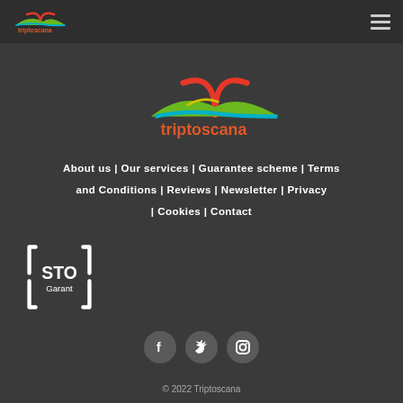triptoscana
[Figure (logo): Triptoscana logo: sunrise over hills in red, green, yellow, blue with text triptoscana in orange below]
About us | Our services | Guarantee scheme | Terms and Conditions | Reviews | Newsletter | Privacy | Cookies | Contact
[Figure (logo): STO Garant certification logo in white on dark background]
[Figure (other): Social media icons: Facebook, Twitter, Instagram]
© 2022 Triptoscana